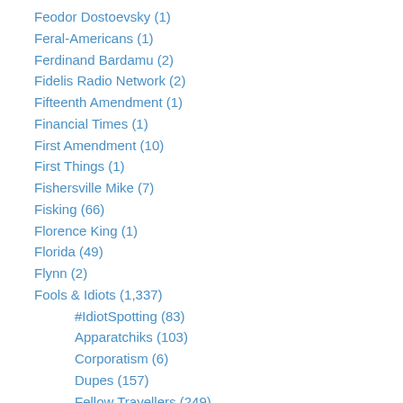Feodor Dostoevsky (1)
Feral-Americans (1)
Ferdinand Bardamu (2)
Fidelis Radio Network (2)
Fifteenth Amendment (1)
Financial Times (1)
First Amendment (10)
First Things (1)
Fishersville Mike (7)
Fisking (66)
Florence King (1)
Florida (49)
Flynn (2)
Fools & Idiots (1,337)
#IdiotSpotting (83)
Apparatchiks (103)
Corporatism (6)
Dupes (157)
Fellow Travellers (249)
Intelligentsia (23)